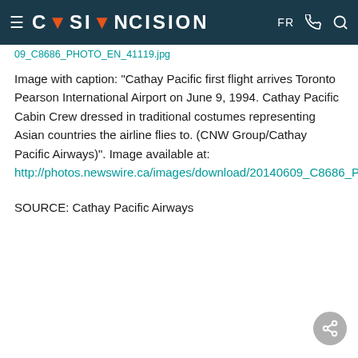CISION — FR [phone] [search]
09_C8686_PHOTO_EN_41119.jpg
Image with caption: "Cathay Pacific first flight arrives Toronto Pearson International Airport on June 9, 1994. Cathay Pacific Cabin Crew dressed in traditional costumes representing Asian countries the airline flies to. (CNW Group/Cathay Pacific Airways)". Image available at: http://photos.newswire.ca/images/download/20140609_C8686_PHOTO_EN_41119.jpg
SOURCE: Cathay Pacific Airways